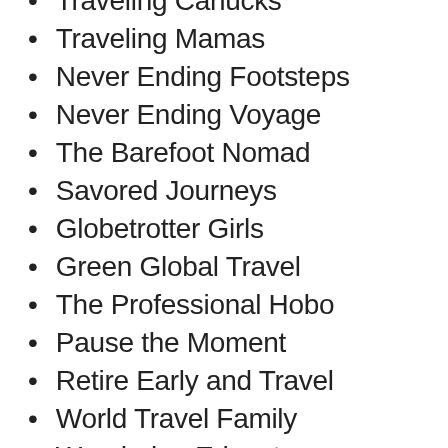Traveling Canucks
Traveling Mamas
Never Ending Footsteps
Never Ending Voyage
The Barefoot Nomad
Savored Journeys
Globetrotter Girls
Green Global Travel
The Professional Hobo
Pause the Moment
Retire Early and Travel
World Travel Family
Wandering Educators
What a Trip